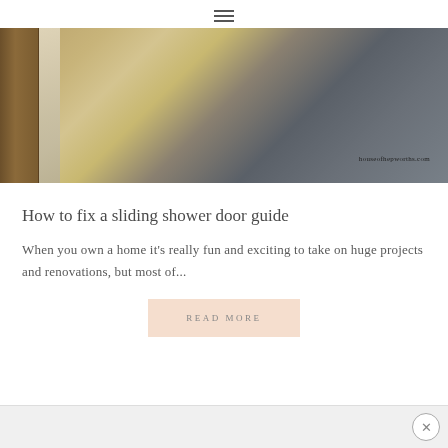hamburger menu icon
[Figure (photo): Close-up photo of a sliding shower door guide/track, showing a dark metal frame against marble or tile background, with watermark houseofhepworths.com]
How to fix a sliding shower door guide
When you own a home it's really fun and exciting to take on huge projects and renovations, but most of...
READ MORE
close button (×)